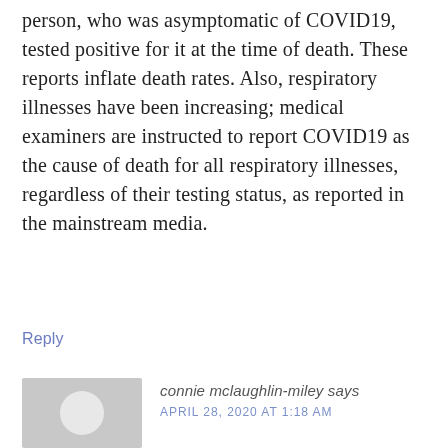person, who was asymptomatic of COVID19, tested positive for it at the time of death. These reports inflate death rates. Also, respiratory illnesses have been increasing; medical examiners are instructed to report COVID19 as the cause of death for all respiratory illnesses, regardless of their testing status, as reported in the mainstream media.
Reply
[Figure (other): Gray avatar placeholder box with white circle in center]
connie mclaughlin-miley says
APRIL 28, 2020 AT 1:18 AM